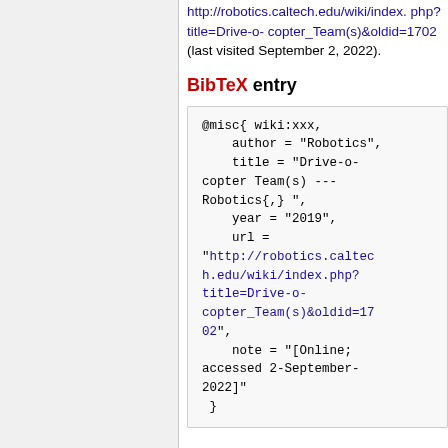http://robotics.caltech.edu/wiki/index.php?title=Drive-o-copter_Team(s)&oldid=1702 (last visited September 2, 2022).
BibTeX entry
@misc{ wiki:xxx,
    author = "Robotics",
    title = "Drive-o-copter Team(s) ---Robotics{,} ",
    year = "2019",
    url = "http://robotics.caltech.edu/wiki/index.php?title=Drive-o-copter_Team(s)&oldid=1702",
    note = "[Online; accessed 2-September-2022]"
 }